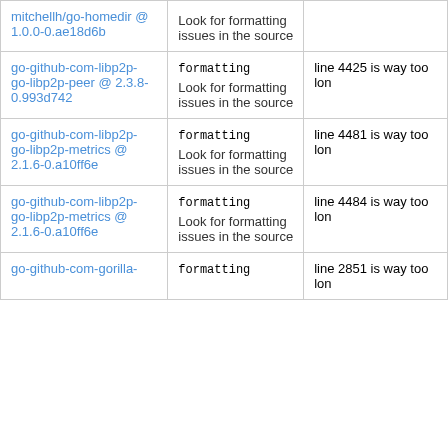| Package | Check | Issue |
| --- | --- | --- |
| mitchellh/go-homedir @ 1.0.0-0.ae18d6b | formatting
Look for formatting issues in the source |  |
| go-github-com-libp2p-go-libp2p-peer @ 2.3.8-0.993d742 | formatting
Look for formatting issues in the source | line 4425 is way too lon |
| go-github-com-libp2p-go-libp2p-metrics @ 2.1.6-0.a10ff6e | formatting
Look for formatting issues in the source | line 4481 is way too lon |
| go-github-com-libp2p-go-libp2p-metrics @ 2.1.6-0.a10ff6e | formatting
Look for formatting issues in the source | line 4484 is way too lon |
| go-github-com-gorilla- | formatting | line 2851 is way too lon |